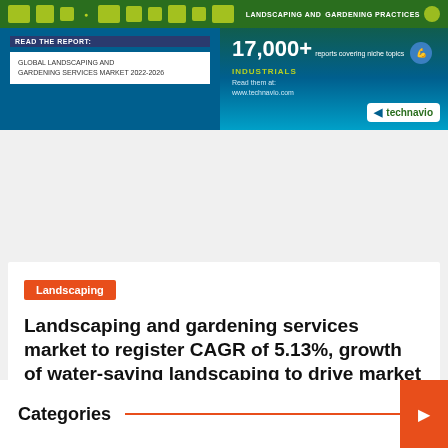[Figure (infographic): Technavio banner advertisement for Global Landscaping and Gardening Services Market 2022-2026 report. Green and blue background with report title box on left, '17,000+ reports covering niche topics' text, INDUSTRIALS label, www.technavio.com URL, and Technavio logo on right.]
Landscaping
Landscaping and gardening services market to register CAGR of 5.13%, growth of water-saving landscaping to drive market
Terri S. Tomasini   August 2, 2022
Categories